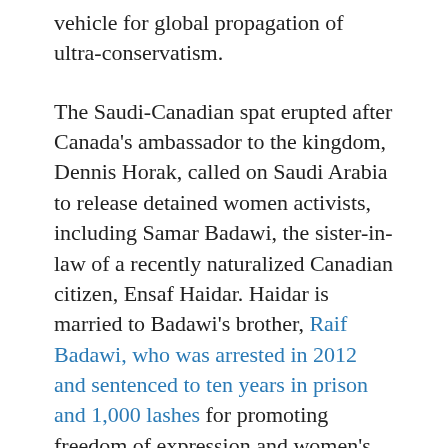vehicle for global propagation of ultra-conservatism.
The Saudi-Canadian spat erupted after Canada's ambassador to the kingdom, Dennis Horak, called on Saudi Arabia to release detained women activists, including Samar Badawi, the sister-in-law of a recently naturalized Canadian citizen, Ensaf Haidar. Haidar is married to Badawi's brother, Raif Badawi, who was arrested in 2012 and sentenced to ten years in prison and 1,000 lashes for promoting freedom of expression and women's rights.
The spat follows similar incidents with Sweden in 2015 and Germany in November of last year and is not dissimilar to approaches adopted by other autocracies like China which has responded similarly on issues such as Taiwan, the South China